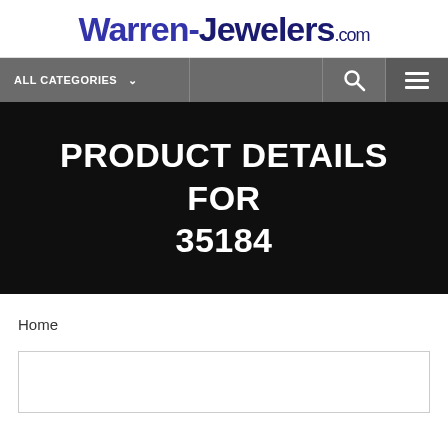Warren-Jewelers.com
ALL CATEGORIES
PRODUCT DETAILS FOR 35184
Home
[Figure (other): Empty product image placeholder box]